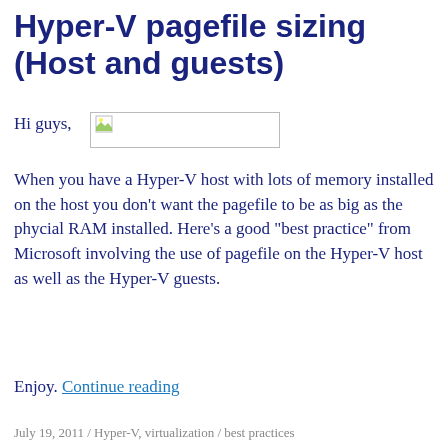Hyper-V pagefile sizing (Host and guests)
Hi guys,
[Figure (other): Broken/missing image placeholder with a small thumbnail icon]
When you have a Hyper-V host with lots of memory installed on the host you don’t want the pagefile to be as big as the phycial RAM installed. Here’s a good “best practice” from Microsoft involving the use of pagefile on the Hyper-V host as well as the Hyper-V guests.
Enjoy. Continue reading
July 19, 2011 / Hyper-V, virtualization / best practices